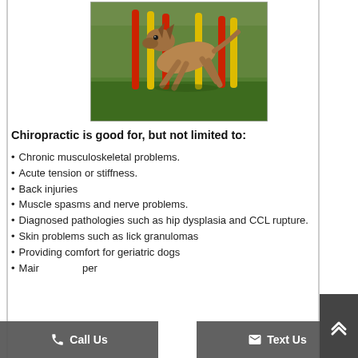[Figure (photo): A Belgian Malinois dog running through red and yellow agility weave poles on a grass field]
Chiropractic is good for, but not limited to:
Chronic musculoskeletal problems.
Acute tension or stiffness.
Back injuries
Muscle spasms and nerve problems.
Diagnosed pathologies such as hip dysplasia and CCL rupture.
Skin problems such as lick granulomas
Providing comfort for geriatric dogs
Mair... per...